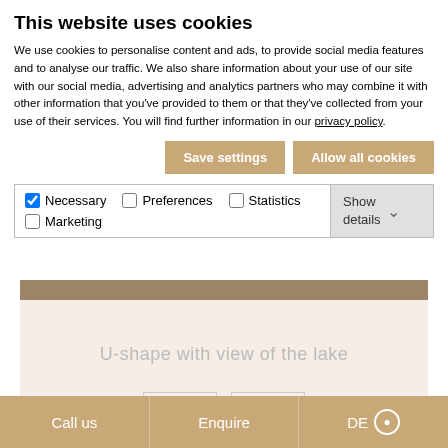This website uses cookies
We use cookies to personalise content and ads, to provide social media features and to analyse our traffic. We also share information about your use of our site with our social media, advertising and analytics partners who may combine it with other information that you've provided to them or that they've collected from your use of their services. You will find further information in our privacy policy.
Save settings | Allow all cookies
☑ Necessary  ☐ Preferences  ☐ Statistics  ☐ Marketing  Show details
[Figure (photo): Partial view of a webpage showing a conference room setup with a lake view, with heading 'U-shape with view of the lake' on a light pink background, and two small button outlines at the bottom.]
Call us   Enquire   DE 🌐